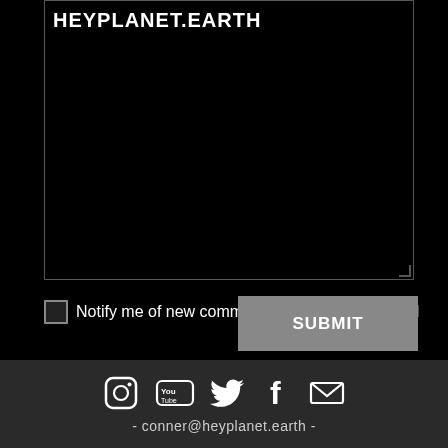HEYPLANET.EARTH
Notify me of new comments to this post by email
SUBMIT
[Figure (infographic): Social media icons: Instagram, YouTube, Twitter, Facebook, Email]
- conner@heyplanet.earth -